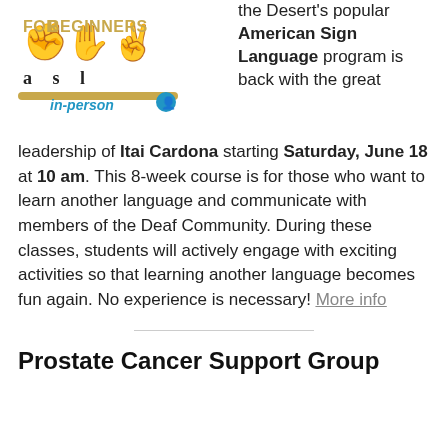[Figure (logo): ASL for Beginners logo with hand signs and golden bar, in-person badge]
the Desert's popular American Sign Language program is back with the great leadership of Itai Cardona starting Saturday, June 18 at 10 am. This 8-week course is for those who want to learn another language and communicate with members of the Deaf Community. During these classes, students will actively engage with exciting activities so that learning another language becomes fun again. No experience is necessary! More info
Prostate Cancer Support Group